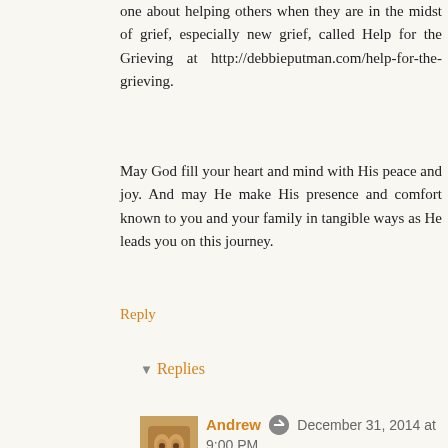one about helping others when they are in the midst of grief, especially new grief, called Help for the Grieving at http://debbieputman.com/help-for-the-grieving.
May God fill your heart and mind with His peace and joy. And may He make His presence and comfort known to you and your family in tangible ways as He leads you on this journey.
Reply
▾ Replies
Andrew December 31, 2014 at 9:00 PM
[Figure (photo): Small square avatar photo of a cat]
Debbie, thank you so much - your words mean something special, coming from the place you have to be in every day, forced there by the loss you've experienced.
I did visit both posts you mentioned - thank you for including the links. They moved me deeply.
The bless for those resources has not yet...